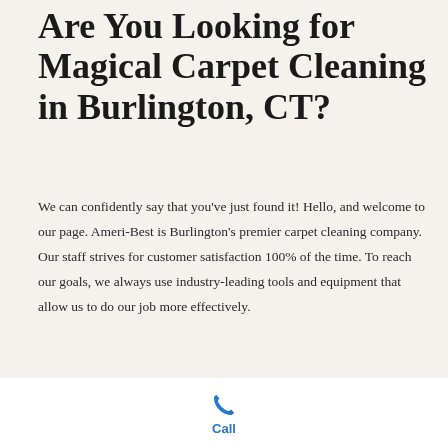Are You Looking for Magical Carpet Cleaning in Burlington, CT?
We can confidently say that you've just found it! Hello, and welcome to our page. Ameri-Best is Burlington's premier carpet cleaning company. Our staff strives for customer satisfaction 100% of the time. To reach our goals, we always use industry-leading tools and equipment that allow us to do our job more effectively.
The days of small compact carpet and rug cleaning devices
[Figure (other): Blue phone call icon with the label 'Call' beneath it, appearing in a white footer bar at the bottom of the page.]